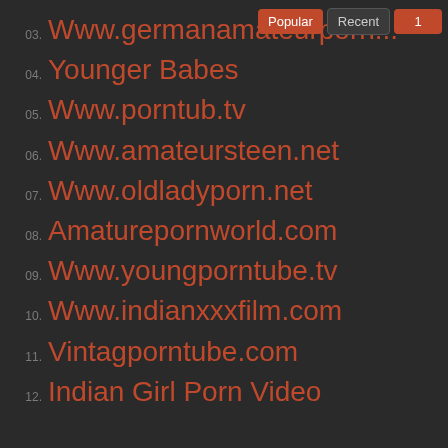03. Www.germanamateurporn...
04. Younger Babes
05. Www.porntub.tv
06. Www.amateursteen.net
07. Www.oldladyporn.net
08. Amaturepornworld.com
09. Www.youngporntube.tv
10. Www.indianxxxfilm.com
11. Vintagporntube.com
12. Indian Girl Porn Video